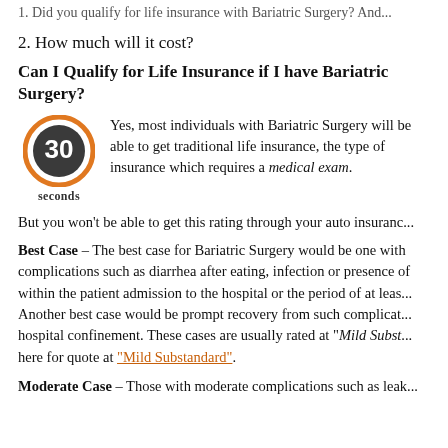1. Did you qualify for life insurance with Bariatric Surgery? And...
2. How much will it cost?
Can I Qualify for Life Insurance if I have Bariatric Surgery?
[Figure (infographic): Orange circular badge with '30' in center and 'seconds' label below, representing a 30-second summary icon]
Yes, most individuals with Bariatric Surgery will be able to get traditional life insurance, the type of insurance which requires a medical exam.
But you won't be able to get this rating through your auto insurance...
Best Case – The best case for Bariatric Surgery would be one with complications such as diarrhea after eating, infection or presence of within the patient admission to the hospital or the period of at least... Another best case would be prompt recovery from such complications... hospital confinement. These cases are usually rated at "Mild Subst... here for quote at "Mild Substandard".
Moderate Case – Those with moderate complications such as leak...